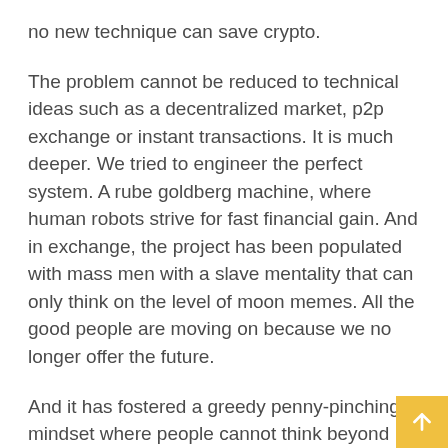no new technique can save crypto.
The problem cannot be reduced to technical ideas such as a decentralized market, p2p exchange or instant transactions. It is much deeper. We tried to engineer the perfect system. A rube goldberg machine, where human robots strive for fast financial gain. And in exchange, the project has been populated with mass men with a slave mentality that can only think on the level of moon memes. All the good people are moving on because we no longer offer the future.
And it has fostered a greedy penny-pinching mindset where people cannot think beyond their own quick self-interest or project brand name.
Our project is to open academies to train hackers able to work on projects which are critical to crypto's